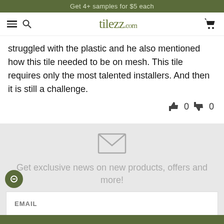Get 4+ samples for $5 each
[Figure (screenshot): tilezz.com navigation bar with hamburger menu, search icon, logo, and cart icon]
struggled with the plastic and he also mentioned how this tile needed to be on mesh. This tile requires only the most talented installers. And then it is still a challenge.
👍 0  👎 0
[Figure (illustration): Envelope/mail icon]
Get exclusive news on new products, offers and more!
EMAIL